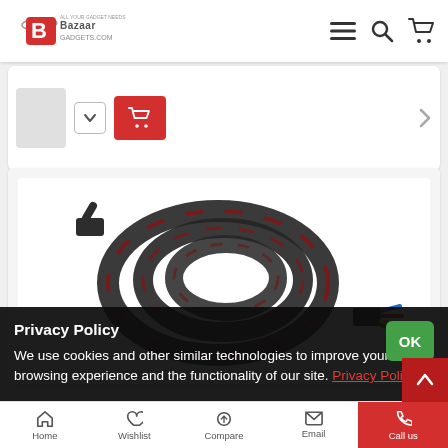[Figure (logo): Bazaar Gadgets logo with red B and tagline]
[Figure (screenshot): Partial product listing card with thumbnail, chevron, and red add-to-cart button]
[Figure (photo): Product photo of a coiled black braided cable with red accents and colored exposed wires at one end]
Privacy Policy
We use cookies and other similar technologies to improve your browsing experience and the functionality of our site. Privacy Policy.
Home    Wishlist    Compare    Email    Call us